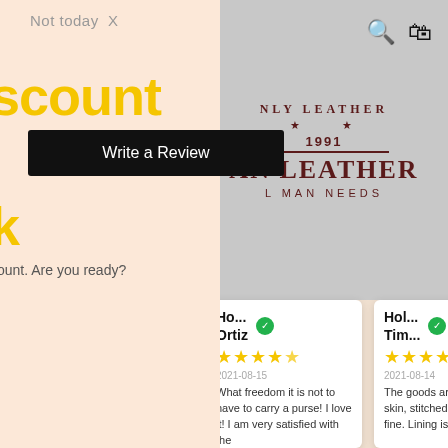Not today X
scount
Write a Review
k
count. Are you ready?
[Figure (logo): NLY LEATHER 1991 MAN LEATHER L MAN NEEDS logo with stars]
Den... Cox
2021-08-18
I love it. Plenty of pockets. Holds all and then more. I recommend!
Ho... Ortiz
2021-08-15
What freedom it is not to have to carry a purse! I love it! I am very satisfied with the
Hol... Tim...
2021-08-14
The goods are super. The skin, stitched everything is fine. Lining is dense
Juan Tho...
2021-08-12
I've bought this two or three times before and love it. I get this for my mother in law and she